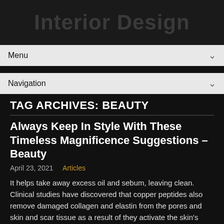Interior Design
Menu
Navigation
TAG ARCHIVES: BEAUTY
Always Keep In Style With These Timeless Magnificence Suggestions – Beauty
April 23, 2021   Articles
It helps take away excess oil and sebum, leaving clean. Clinical studies have discovered that copper peptides also remove damaged collagen and elastin from the pores and skin and scar tissue as a result of they activate the skin's system responsible for those functions. This is why skin responds to pores and skin care merchandise with retinol: vitamin A has a molecular structure that is tiny sufficient to get into the decrease layers of skin, the place it finds collagen and elastin. With age and solar exposure,